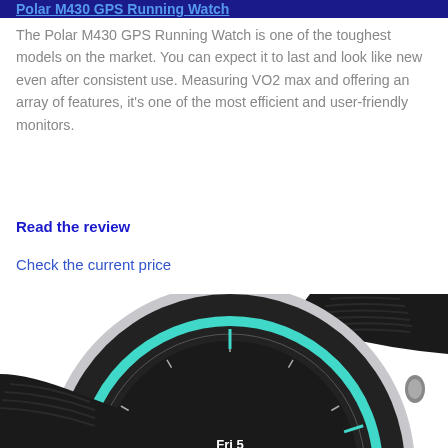Polar M430 GPS Running Watch
The Polar M430 GPS Running Watch is one of the toughest models on the market. You can expect it to last and look like new even after consistent use. Measuring VO2 max and offering an array of features, it's one of the most efficient and user-friendly monitors.
Read the review
Check the current price
[Figure (photo): Polar M430 GPS running watch with black rubber band and teal/cyan accent ring on the watch face, showing Fri 5 on display, silver bezel]